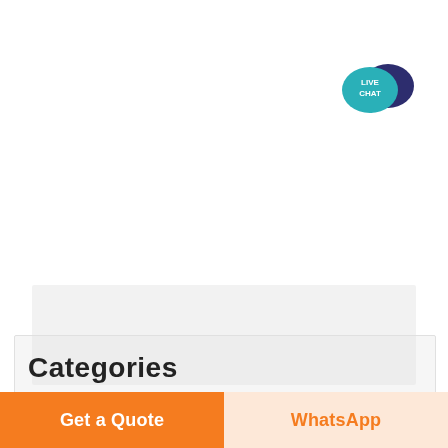[Figure (logo): Live Chat speech bubble icon — teal bubble in front with 'LIVE CHAT' text in white, dark navy bubble behind]
[Figure (photo): Faded/washed-out background image area, partially visible]
Categories
Get a Quote
WhatsApp